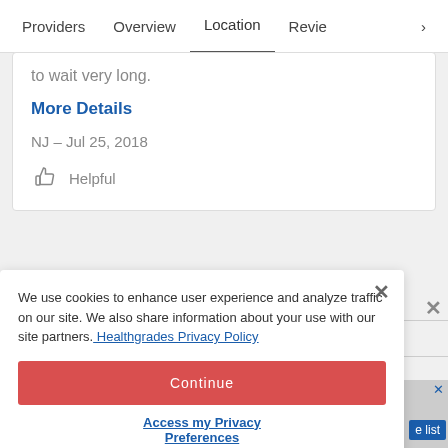Providers   Overview   Location   Revie>
to wait very long.
More Details
NJ – Jul 25, 2018
Helpful
We use cookies to enhance user experience and analyze traffic on our site. We also share information about your use with our site partners. Healthgrades Privacy Policy
Continue
Access my Privacy Preferences